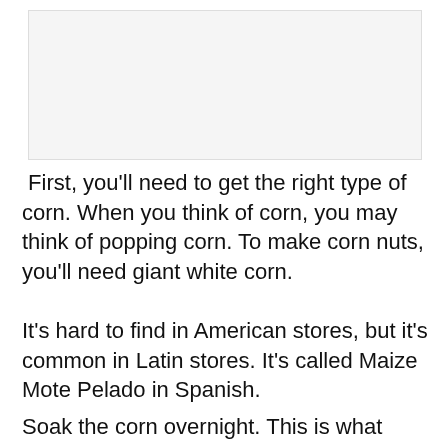[Figure (photo): Placeholder image area at top of page]
First, you’ll need to get the right type of corn. When you think of corn, you may think of popping corn. To make corn nuts, you’ll need giant white corn.
It’s hard to find in American stores, but it’s common in Latin stores. It’s called Maize Mote Pelado in Spanish.
Soak the corn overnight. This is what gives